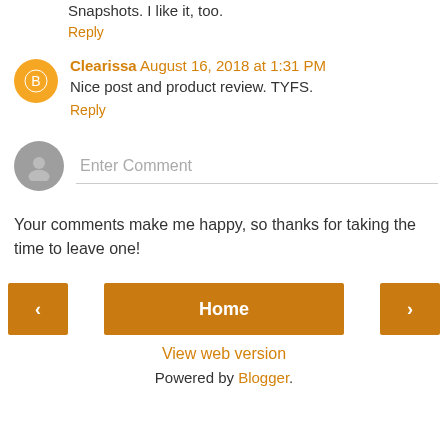Snapshots. I like it, too.
Reply
Clearissa August 16, 2018 at 1:31 PM
Nice post and product review. TYFS.
Reply
Enter Comment
Your comments make me happy, so thanks for taking the time to leave one!
Home
View web version
Powered by Blogger.